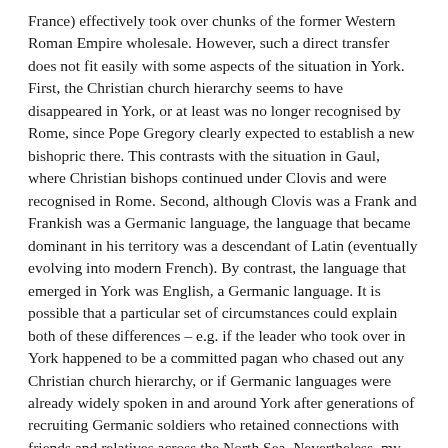France) effectively took over chunks of the former Western Roman Empire wholesale. However, such a direct transfer does not fit easily with some aspects of the situation in York. First, the Christian church hierarchy seems to have disappeared in York, or at least was no longer recognised by Rome, since Pope Gregory clearly expected to establish a new bishopric there. This contrasts with the situation in Gaul, where Christian bishops continued under Clovis and were recognised in Rome. Second, although Clovis was a Frank and Frankish was a Germanic language, the language that became dominant in his territory was a descendant of Latin (eventually evolving into modern French). By contrast, the language that emerged in York was English, a Germanic language. It is possible that a particular set of circumstances could explain both of these differences – e.g. if the leader who took over in York happened to be a committed pagan who chased out any Christian church hierarchy, or if Germanic languages were already widely spoken in and around York after generations of recruiting Germanic soldiers who retained connections with friends and relatives across the North Sea. Nevertheless, my interpretation is that these differences are consistent with a less direct transition in York.
Invasion and conquest
A second possibility is that English warriors invaded and